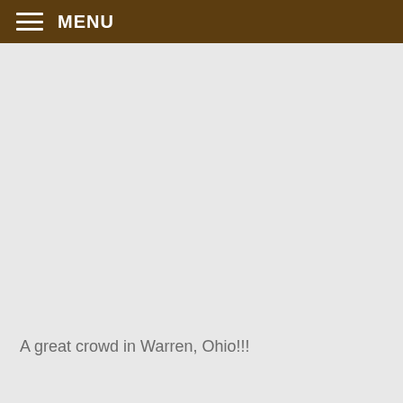MENU
A great crowd in Warren, Ohio!!!